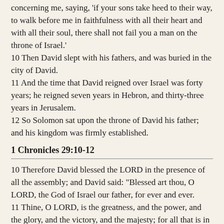concerning me, saying, 'if your sons take heed to their way, to walk before me in faithfulness with all their heart and with all their soul, there shall not fail you a man on the throne of Israel.' 10 Then David slept with his fathers, and was buried in the city of David. 11 And the time that David reigned over Israel was forty years; he reigned seven years in Hebron, and thirty-three years in Jerusalem. 12 So Solomon sat upon the throne of David his father; and his kingdom was firmly established.
1 Chronicles 29:10-12
10 Therefore David blessed the LORD in the presence of all the assembly; and David said: "Blessed art thou, O LORD, the God of Israel our father, for ever and ever. 11 Thine, O LORD, is the greatness, and the power, and the glory, and the victory, and the majesty; for all that is in the heavens and in the earth is thine; thine is the kingdom, O LORD, and thou art exalted as head above all. 12 Both riches and honor come from thee, and thou rulest over all. In thy hand are power and might; and in thy hand it is to make great and to give strength to all.